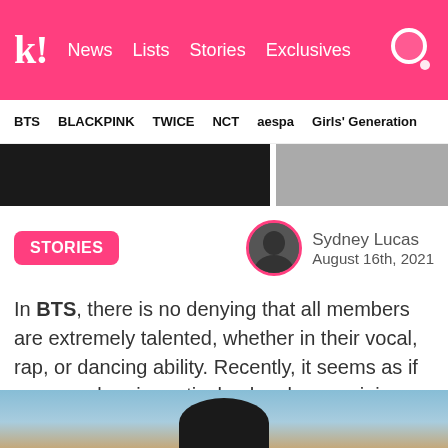k! News  Lists  Stories  Exclusives
BTS  BLACKPINK  TWICE  NCT  aespa  Girls' Generation
[Figure (photo): Image strip showing partial photos of people]
STORIES
Sydney Lucas
August 16th, 2021
In BTS, there is no denying that all members are extremely talented, whether in their vocal, rap, or dancing ability. Recently, it seems as if one member, in particular, has been gaining attention for their stunning vocals, and it is the oldest member, Jin!
[Figure (photo): Photo of Jin (BTS member) against a sky background]